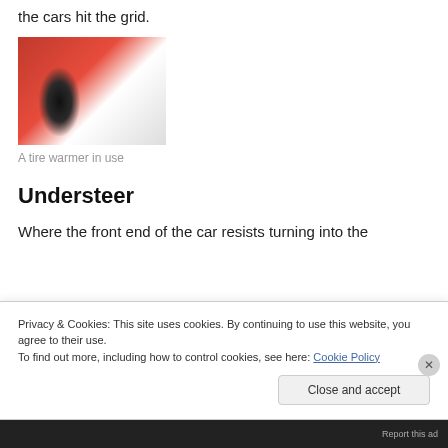the cars hit the grid.
[Figure (photo): A mechanic in white and red uniform working on a racing car tire with a tire warmer]
A tire warmer in use
Understeer
Where the front end of the car resists turning into the
Privacy & Cookies: This site uses cookies. By continuing to use this website, you agree to their use.
To find out more, including how to control cookies, see here: Cookie Policy
Close and accept